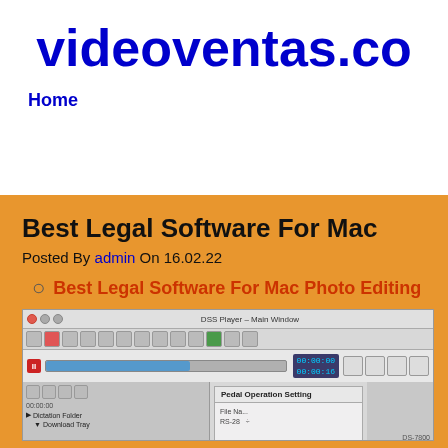videoventas.co
Home
Best Legal Software For Mac
Posted By admin On 16.02.22
Best Legal Software For Mac Photo Editing
[Figure (screenshot): DSS Player Main Window application screenshot showing media player interface with progress bar, time display, toolbar buttons, folder panel on left, Pedal Operation Setting dialog in center, and additional controls on right]